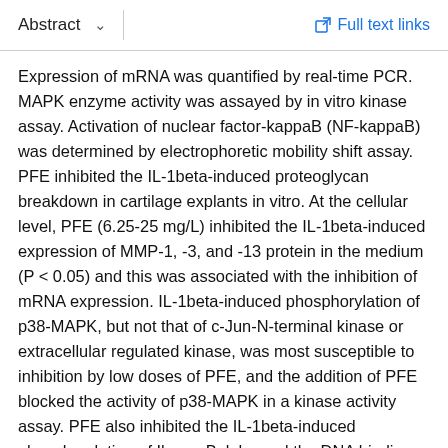Abstract  ∨    Full text links
Expression of mRNA was quantified by real-time PCR. MAPK enzyme activity was assayed by in vitro kinase assay. Activation of nuclear factor-kappaB (NF-kappaB) was determined by electrophoretic mobility shift assay. PFE inhibited the IL-1beta-induced proteoglycan breakdown in cartilage explants in vitro. At the cellular level, PFE (6.25-25 mg/L) inhibited the IL-1beta-induced expression of MMP-1, -3, and -13 protein in the medium (P < 0.05) and this was associated with the inhibition of mRNA expression. IL-1beta-induced phosphorylation of p38-MAPK, but not that of c-Jun-N-terminal kinase or extracellular regulated kinase, was most susceptible to inhibition by low doses of PFE, and the addition of PFE blocked the activity of p38-MAPK in a kinase activity assay. PFE also inhibited the IL-1beta-induced phosphorylation of IkappaBalpha and the DNA binding activity of the transcription factor NF-kappaB in OA